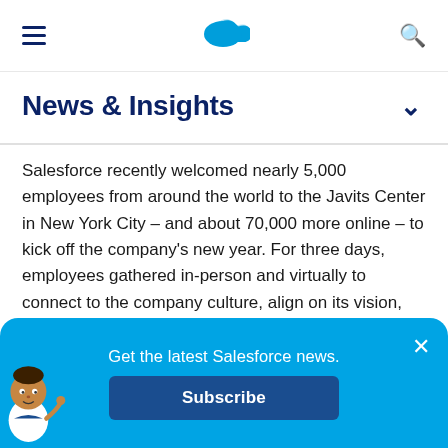Salesforce navigation bar with hamburger menu, cloud logo, and search icon
News & Insights
Salesforce recently welcomed nearly 5,000 employees from around the world to the Javits Center in New York City – and about 70,000 more online – to kick off the company's new year. For three days, employees gathered in-person and virtually to connect to the company culture, align on its vision, and chart a course for the year ahead.
Get the latest Salesforce news. Subscribe